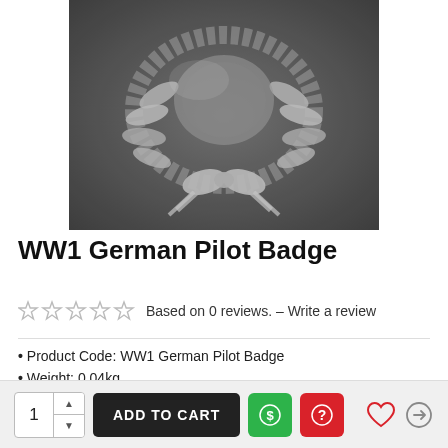[Figure (photo): Close-up photo of a WW1 German Pilot Badge, a silver metallic badge with a wreath design and bow at the bottom, on a dark background]
WW1 German Pilot Badge
☆ ☆ ☆ ☆ ☆  Based on 0 reviews.  –  Write a review
Product Code: WW1 German Pilot Badge
Weight: 0.04kg
£18.99
1  ADD TO CART  [$ icon]  [? icon]  [heart icon]  [compare icon]